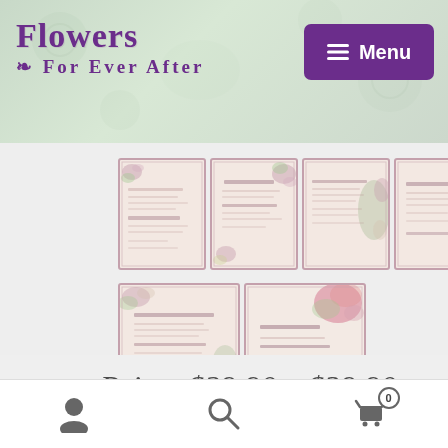Flowers For Ever After — Menu
[Figure (photo): Six wedding stationery/invitation card product images arranged in two rows: four cards in the first row and two cards in the second row. Cards feature floral decorations with pink and green botanical motifs on cream/ivory backgrounds with decorative borders.]
Price: $29.90 – $39.90
User icon | Search icon | Cart icon with badge 0